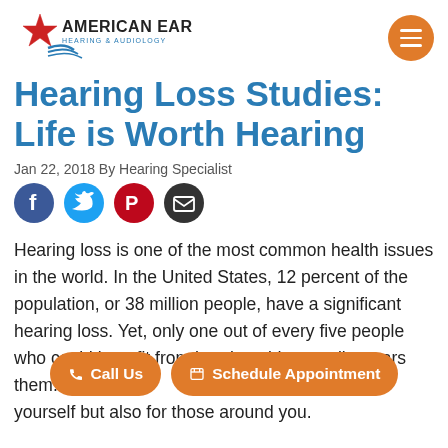[Figure (logo): American Ear Hearing & Audiology logo with star and blue swoosh]
Hearing Loss Studies: Life is Worth Hearing
Jan 22, 2018 By Hearing Specialist
[Figure (infographic): Social media share icons: Facebook, Twitter, Pinterest, Email]
Hearing loss is one of the most common health issues in the world. In the United States, 12 percent of the population, or 38 million people, have a significant hearing loss. Yet, only one out of every five people who could benefit from hearing aids actually wears them. [obscured] [obscured] only be frustrating for yourself but also for those around you.
[Figure (other): Call Us and Schedule Appointment CTA buttons overlaid on text]